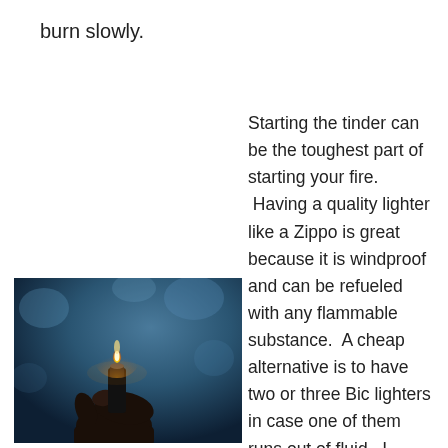burn slowly.
Starting the tinder can be the toughest part of starting your fire.  Having a quality lighter like a Zippo is great because it is windproof and can be refueled with any flammable substance.  A cheap alternative is to have two or three Bic lighters in case one of them runs out of fluid.  I personally prefer using
[Figure (photo): A hand holding a lighter with a flame against a dark blueish background]